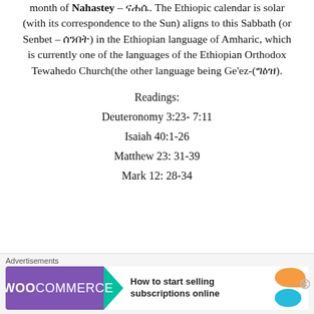month of Nahastey – ናሐሴ. The Ethiopic calendar is solar (with its correspondence to the Sun) aligns to this Sabbath (or Senbet – ሰንበት) in the Ethiopian language of Amharic, which is currently one of the languages of the Ethiopian Orthodox Tewahedo Church(the other language being Ge'ez-(ግዕዝ).
Readings:
Deuteronomy 3:23- 7:11
Isaiah 40:1-26
Matthew 23: 31-39
Mark 12: 28-34
[Figure (other): WooCommerce advertisement banner: 'How to start selling subscriptions online']